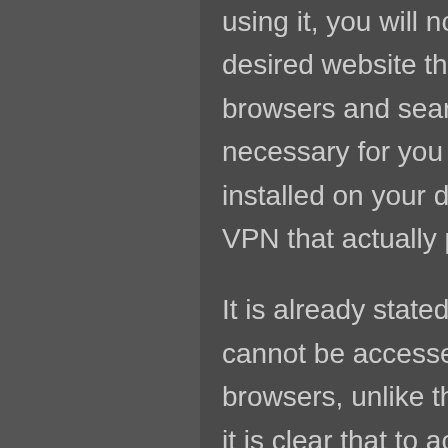using it, you will not be able to get into your desired website through the standard browsers and search engines. Thus, it is necessary for you to have a Tor browser installed on your device, along with a premium VPN that actually protects your privacy online.
It is already stated that Deep Web Links cannot be accessed through the regular browsers, unlike the surface web links. Thus, it is clear that to access these hidden links, one need to possess a different browser or a different search engine. There are